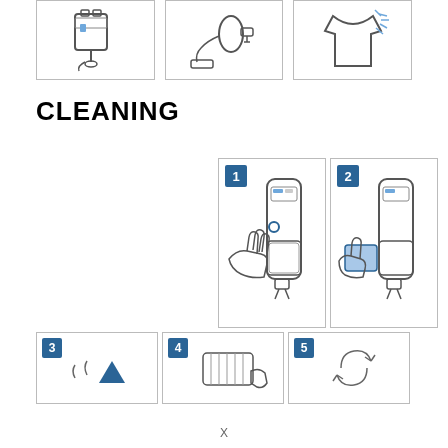[Figure (illustration): Three instructional illustrations in bordered boxes: (1) a vacuum cleaner charging unit, (2) a vacuum cleaner with hose and plug, (3) a shirt/clothing item showing steam or ventilation]
CLEANING
[Figure (illustration): Step 1: Hand pressing button on handheld vacuum cleaner body]
[Figure (illustration): Step 2: Hand removing/inserting filter compartment on handheld vacuum cleaner]
[Figure (illustration): Step 3: Partial cleaning step illustration with arrow]
[Figure (illustration): Step 4: Partial cleaning step illustration showing filter]
[Figure (illustration): Step 5: Partial cleaning step illustration]
X